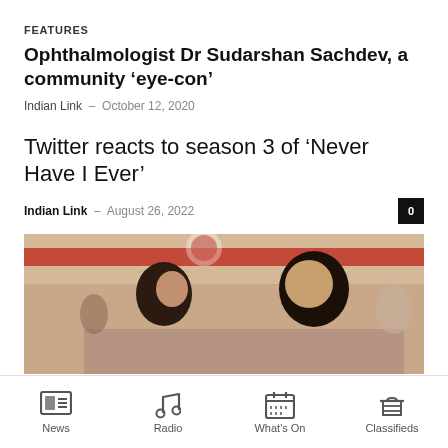FEATURES
Ophthalmologist Dr Sudarshan Sachdev, a community ‘eye-con’
Indian Link – October 12, 2020
Twitter reacts to season 3 of ‘Never Have I Ever’
Indian Link – August 26, 2022
[Figure (photo): Two young people, a woman and a man, in what appears to be a school cafeteria setting with a red banner in the background]
News   Radio   What’s On   Classifieds